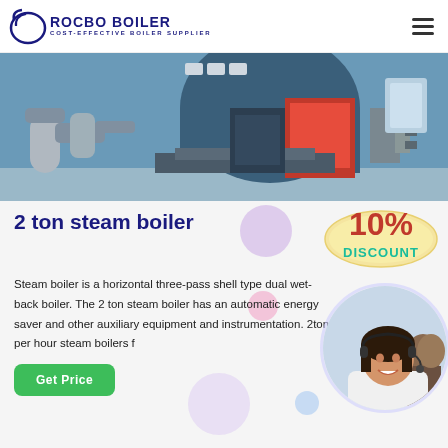ROCBO BOILER - COST-EFFECTIVE BOILER SUPPLIER
[Figure (photo): Industrial boiler room with large blue cylindrical boiler, red heating unit, and associated piping/equipment]
2 ton steam boiler
[Figure (infographic): 10% DISCOUNT badge in red and teal colors]
Steam boiler is a horizontal three-pass shell type dual wet-back boiler. The 2 ton steam boiler has an automatic energy saver and other auxiliary equipment and instrumentation. 2ton per hour steam boilers f...
[Figure (photo): Customer service representative with headset, woman smiling, call center background]
Get Price